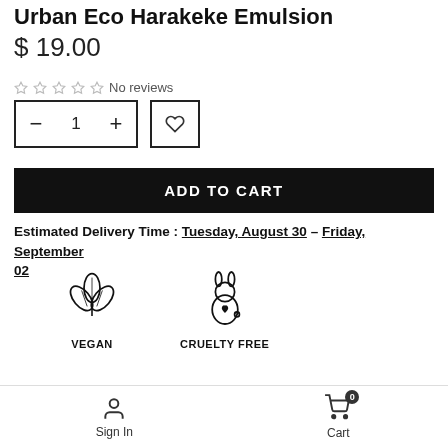Urban Eco Harakeke Emulsion
$ 19.00
☆☆☆☆☆ No reviews
ADD TO CART
Estimated Delivery Time : Tuesday, August 30 – Friday, September 02
[Figure (illustration): Vegan leaf icon with text VEGAN below]
[Figure (illustration): Cruelty free rabbit icon with heart, text CRUELTY FREE below]
Sign In   Cart 0